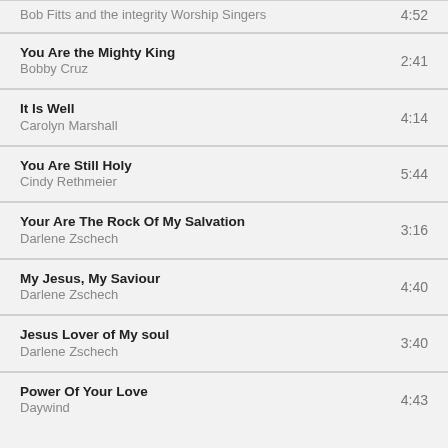Bob Fitts and the integrity Worship Singers | 4:52
You Are the Mighty King | Bobby Cruz | 2:41
It Is Well | Carolyn Marshall | 4:14
You Are Still Holy | Cindy Rethmeier | 5:44
Your Are The Rock Of My Salvation | Darlene Zschech | 3:16
My Jesus, My Saviour | Darlene Zschech | 4:40
Jesus Lover of My soul | Darlene Zschech | 3:40
Power Of Your Love | Daywind | 4:43